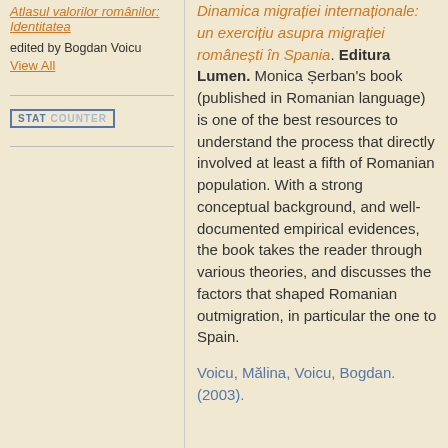Atlasul valorilor românilor: Identitatea edited by Bogdan Voicu
View All
[Figure (logo): StatCounter logo/badge: a rectangular box with 'STAT COUNTER' text in blue]
Dinamica migrației internaționale: un exercițiu asupra migrației românești în Spania. Editura Lumen. Monica Șerban's book (published in Romanian language) is one of the best resources to understand the process that directly involved at least a fifth of Romanian population. With a strong conceptual background, and well-documented empirical evidences, the book takes the reader through various theories, and discusses the factors that shaped Romanian outmigration, in particular the one to Spain.
Voicu, Mălina, Voicu, Bogdan. (2003).